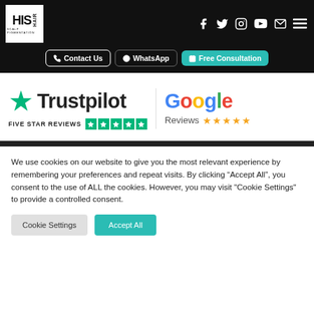[Figure (logo): HIS Hair Scalp Pigmentation logo — white box with HIS HAIR text on black header bar]
[Figure (screenshot): Navigation bar with social icons: Facebook, Twitter, Instagram, YouTube, Email, Menu hamburger on black background]
[Figure (infographic): Buttons row: Contact Us (outline), WhatsApp (ghost outline), Free Consultation (teal)]
[Figure (logo): Trustpilot logo with green star and text 'Trustpilot' alongside 'FIVE STAR REVIEWS' with five green star boxes, and Google Reviews with multicolor Google text and five orange stars]
We use cookies on our website to give you the most relevant experience by remembering your preferences and repeat visits. By clicking "Accept All", you consent to the use of ALL the cookies. However, you may visit "Cookie Settings" to provide a controlled consent.
[Figure (screenshot): Cookie consent buttons: 'Cookie Settings' (grey) and 'Accept All' (teal)]